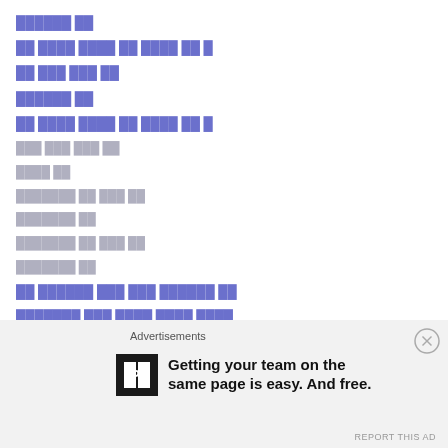██████ ██
██ ████ ████ ██ ████ ██ █
██ ███ ███ ██
██████ ██
██ ████ ████ ██ ████ ██ █
███ ███ ███ ██
████ ██
███████ ██ ███ ██
███████ ██
███████ ██ ███ ██
███████ ██
██ ██████ ███ ███ ██████ ██
███████ ███ ████ ████ ████
Advertisements
Getting your team on the same page is easy. And free.